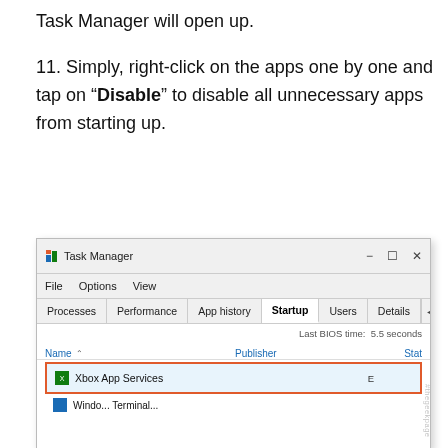Task Manager will open up.
11. Simply, right-click on the apps one by one and tap on "Disable" to disable all unnecessary apps from starting up.
[Figure (screenshot): Windows Task Manager screenshot showing the Startup tab, with 'Xbox App Services' selected and highlighted with a red border, a context menu showing 'Disable' option, annotated with circled numbers 1 and 2 and a red arrow pointing to 'Disable'.]